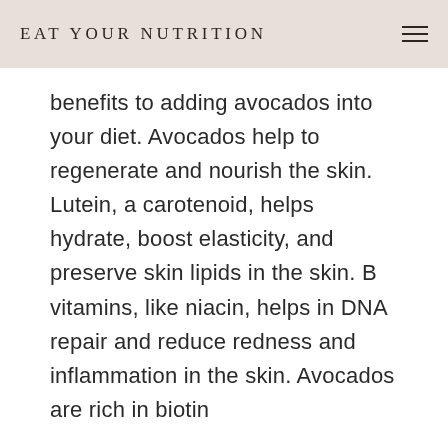EAT YOUR NUTRITION
benefits to adding avocados into your diet. Avocados help to regenerate and nourish the skin. Lutein, a carotenoid, helps hydrate, boost elasticity, and preserve skin lipids in the skin. B vitamins, like niacin, helps in DNA repair and reduce redness and inflammation in the skin. Avocados are rich in biotin